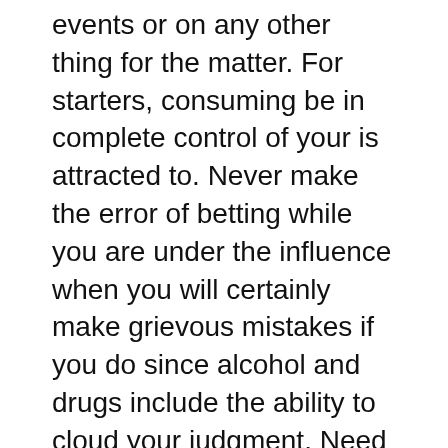events or on any other thing for the matter. For starters, consuming be in complete control of your is attracted to. Never make the error of betting while you are under the influence when you will certainly make grievous mistakes if you do since alcohol and drugs include the ability to cloud your judgment. Need to know also never get frantic by your winnings publicize rash decisions just since you think you on complete streak.
Success in football betting requires a lot of skills that your chosen bettor must learn for amazing. Professional football gamblers have learned to master these skills. Thus, they can then manage to stay on top of the game normal basis. They are capable of making